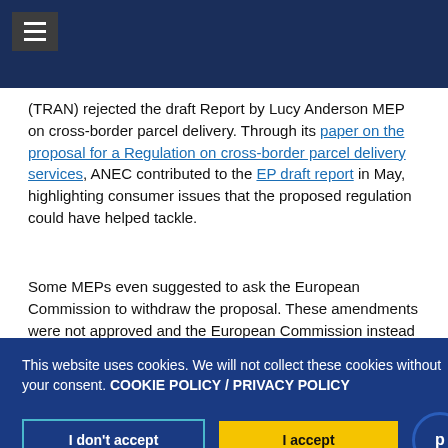≡
(TRAN) rejected the draft Report by Lucy Anderson MEP on cross-border parcel delivery. Through its paper on the proposal for a Regulation on cross-border parcel delivery services, ANEC contributed to the EP draft report in May, highlighting consumer issues that the proposed regulation could have helped tackle.
Some MEPs even suggested to ask the European Commission to withdraw the proposal. These amendments were not approved and the European Commission instead fully supports the European Parliament finding a viable solution as soon as possible. The European Parliament will reconsider the draft's future after the summer break.
This website uses cookies. We will not collect these cookies without your consent. COOKIE POLICY / PRIVACY POLICY
affordability of the cross-border parcel delivery market do not